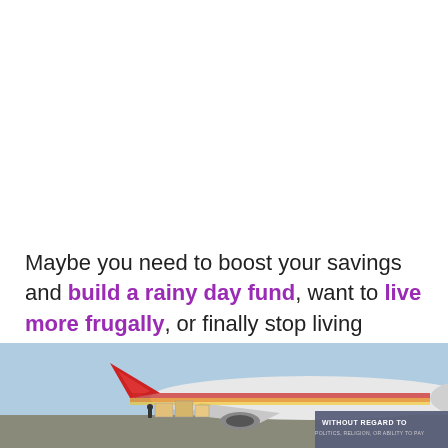Maybe you need to boost your savings and build a rainy day fund, want to live more frugally, or finally stop living paycheck to paycheck.
According to the USDA, American households spend
[Figure (photo): A cargo airplane being loaded with packages, with a banner ad overlay reading 'WITHOUT REGARD TO POLITICS, RELIGION, OR ABILITY TO PAY']